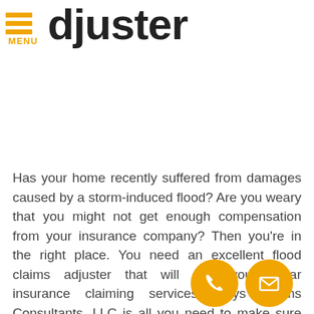MENU  djuster
Has your home recently suffered from damages caused by a storm-induced flood? Are you weary that you might not get enough compensation from your insurance company? Then you're in the right place. You need an excellent flood claims adjuster that will give you stellar insurance claiming services. Keys Claims Consultants, LLC is all you need to make sure you get the funds that you deserve from your insurance company when a flood damage pr.